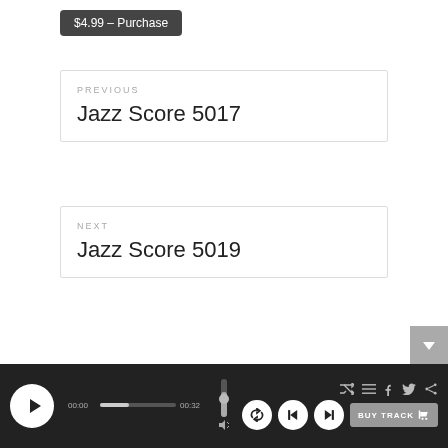$4.99 – Purchase
PREVIOUS
Jazz Score 5017
NEXT
Jazz Score 5019
[Figure (screenshot): Music player bar with play button, progress bar showing 00:00 / 00:32, volume slider, shuffle/list/share icons, back/skip controls, and BUY TRACK button]